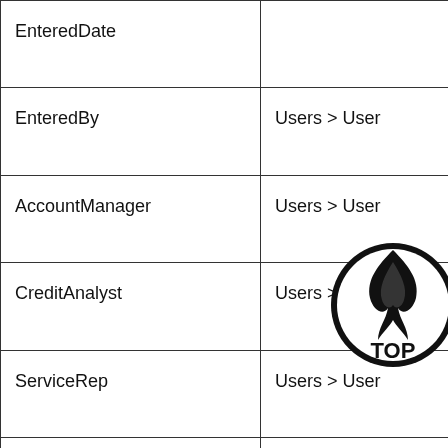| Field | Lookup | Description |
| --- | --- | --- |
| EnteredDate |  | System… the cu… |
| EnteredBy | Users > User | Userna… System… |
| AccountManager | Users > User | Userna… System… |
| CreditAnalyst | Users > User | Userna… System… |
| ServiceRep | Users > User | Userna… rem… |
| UserType1 | Users > User | Display… |
[Figure (logo): TOP circular logo with flame icon]